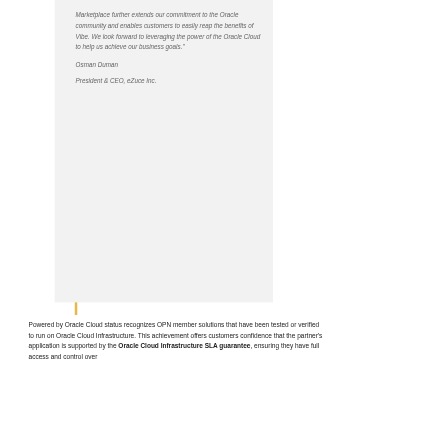Marketplace further extends our commitment to the Oracle community and enables customers to easily reap the benefits of Vibe. We look forward to leveraging the power of the Oracle Cloud to help us achieve our business goals."
Osman Duman
President & CEO, eZuce Inc.
Powered by Oracle Cloud status recognizes OPN member solutions that have been tested or verified to run on Oracle Cloud Infrastructure. This achievement offers customers confidence that the partner's application is supported by the Oracle Cloud Infrastructure SLA guarantee, ensuring they have full access and control over